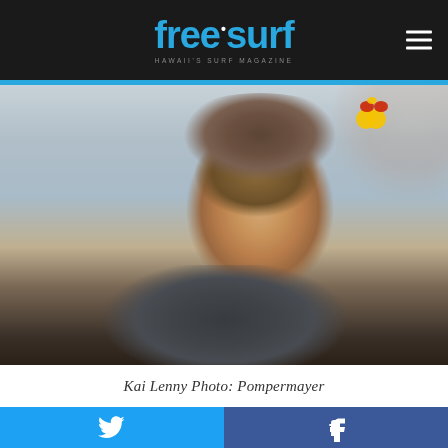freesurf HAWAII'S SURF MAGAZINE
[Figure (photo): Portrait photo of Kai Lenny smiling, wearing a Red Bull cap and dark puffer jacket, outdoor setting with blurred background]
Kai Lenny Photo: Pompermayer
Twitter share button | Facebook share button